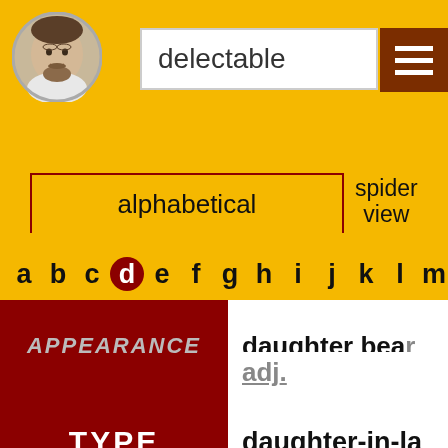[Figure (illustration): Circular portrait of William Shakespeare]
delectable
alphabetical | spider view | by frequency | by
a b c d e f g h i j k l m n o p q
| Category | Entry |
| --- | --- |
| APPEARANCE | daughter bea... |
|  | adj. |
| TYPE | daughter-in-la... |
|  | god-daughter |